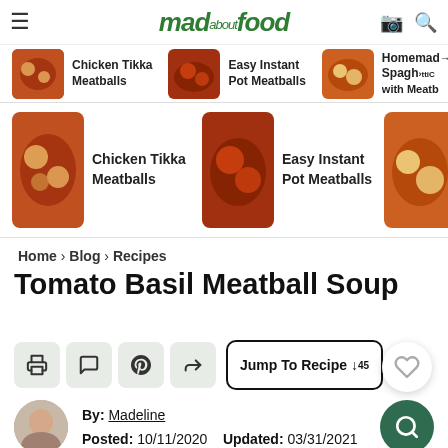mad about food — navigation bar with logo and recipe thumbnails
[Figure (screenshot): Navigation row with food thumbnails: Chicken Tikka Meatballs, Easy Instant Pot Meatballs, Homemade Spaghetti with Meatballs]
Home › Blog › Recipes
Tomato Basil Meatball Soup
Jump To Recipe ↓45
By: Madeline   Posted: 10/11/2020   Updated: 03/31/2021
This Post May Contain Affiliate Links. Please Read My Disclosure Policy.